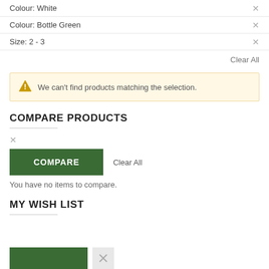Colour: White ×
Colour: Bottle Green ×
Size: 2 - 3 ×
Clear All
We can't find products matching the selection.
COMPARE PRODUCTS
×
COMPARE   Clear All
You have no items to compare.
MY WISH LIST